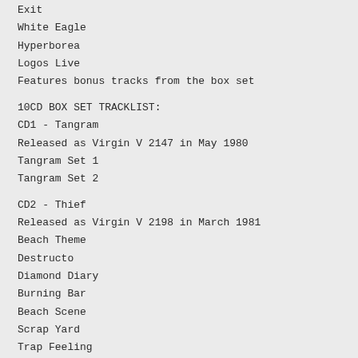Exit
White Eagle
Hyperborea
Logos Live
Features bonus tracks from the box set
10CD BOX SET TRACKLIST:
CD1 - Tangram
Released as Virgin V 2147 in May 1980
Tangram Set 1
Tangram Set 2
CD2 - Thief
Released as Virgin V 2198 in March 1981
Beach Theme
Destructo
Diamond Diary
Burning Bar
Beach Scene
Scrap Yard
Trap Feeling